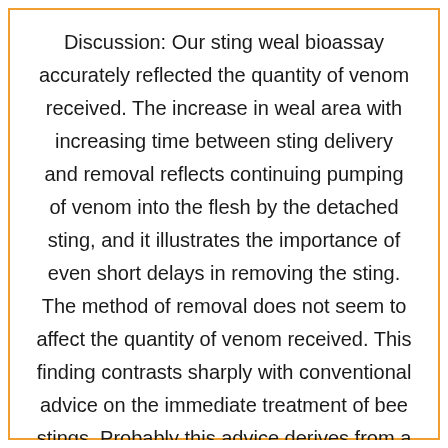Discussion: Our sting weal bioassay accurately reflected the quantity of venom received. The increase in weal area with increasing time between sting delivery and removal reflects continuing pumping of venom into the flesh by the detached sting, and it illustrates the importance of even short delays in removing the sting. The method of removal does not seem to affect the quantity of venom received. This finding contrasts sharply with conventional advice on the immediate treatment of bee stings. Probably this advice derives from a